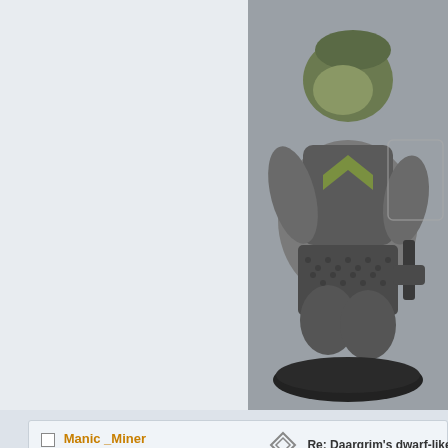[Figure (photo): Close-up photo of a painted miniature dwarf figurine, predominantly grey/silver with green chevron markings on the chest, holding a weapon, on a dark round base. Background is grey.]
Manic _Miner
Member Emeritus
Re: Daargrim's dwarf-like-paced project log
« Reply #50 on: February 11, 2010, 10:46:24 AM